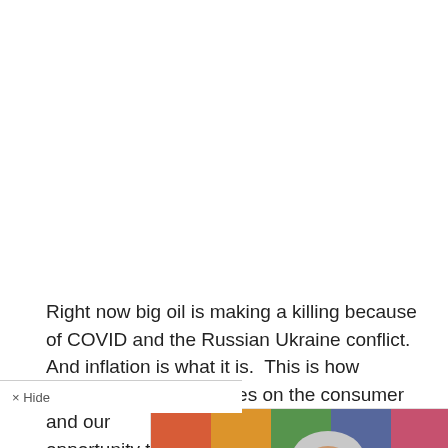Right now big oil is making a killing because of COVID and the Russian Ukraine conflict. And inflation is what it is.  This is how capitalism works. It relies on the consumer and our dependence on oil gives them the opportunity to take full
× Hide
[Figure (photo): Advertisement showing a smiling woman with short gray hair and red glasses, with text '$30 Billion to Advance Racial Equity' and a close (×) button]